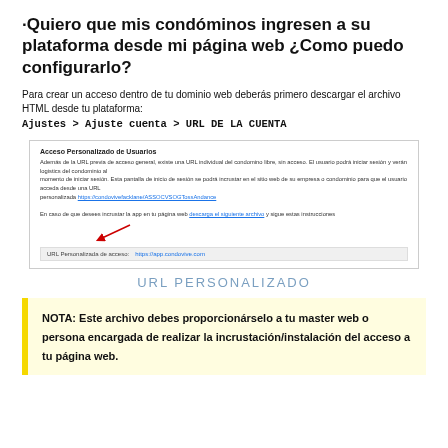·Quiero que mis condóminos ingresen a su plataforma desde mi página web ¿Como puedo configurarlo?
Para crear un acceso dentro de tu dominio web deberás primero descargar el archivo HTML desde tu plataforma: Ajustes > Ajuste cuenta > URL DE LA CUENTA
[Figure (screenshot): Screenshot of 'Acceso Personalizado de Usuarios' settings panel showing URL personalization options with a red arrow pointing to a download link and a URL input field showing https://app.condovive.com]
URL PERSONALIZADO
NOTA: Este archivo debes proporcionárselo a tu master web o persona encargada de realizar la incrustación/instalación del acceso a tu página web.